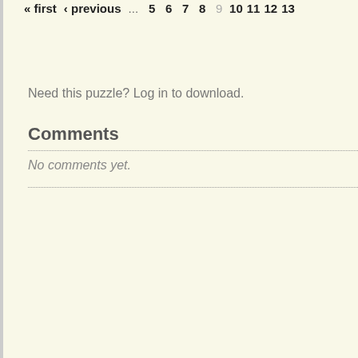« first  ‹ previous  ...  5  6  7  8  9  10  11  12  13
Need this puzzle? Log in to download.
Comments
No comments yet.